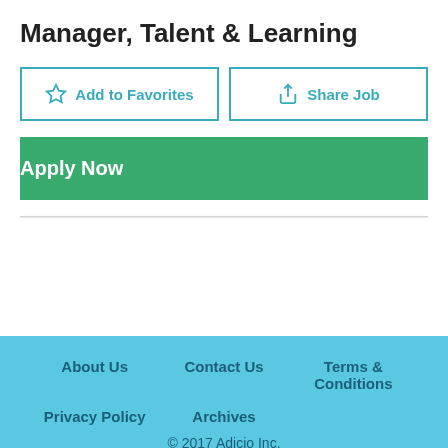Manager, Talent & Learning
Add to Favorites
Share Job
Apply Now
About Us | Contact Us | Terms & Conditions | Privacy Policy | Archives | © 2017 Adicio Inc.
Search Jobs
Resume & Cover Letters
Advanced Job Search
Manage Resumes